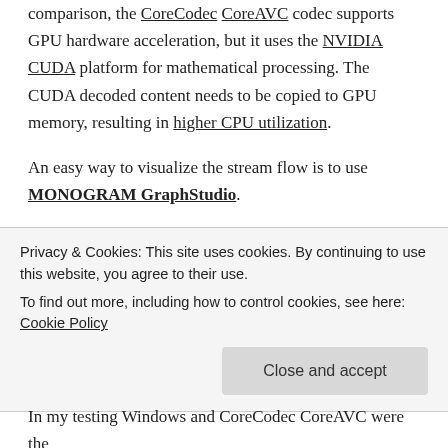comparison, the CoreCodec CoreAVC codec supports GPU hardware acceleration, but it uses the NVIDIA CUDA platform for mathematical processing. The CUDA decoded content needs to be copied to GPU memory, resulting in higher CPU utilization.
An easy way to visualize the stream flow is to use MONOGRAM GraphStudio.
I spent quite a bit of time getting the right versions of the right software installed, and on two occasions new versions were released during my testing, and I had to test again. I started by using the K-Lite Codec Pack. But, I
Privacy & Cookies: This site uses cookies. By continuing to use this website, you agree to their use.
To find out more, including how to control cookies, see here: Cookie Policy
In my testing Windows and CoreCodec CoreAVC were the